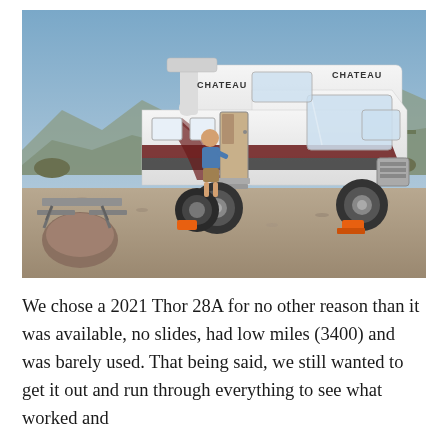[Figure (photo): A white Thor Chateau Class C motorhome (2021 Thor 28A) parked at a desert campsite on a gravel pad. A man in a blue shirt and shorts is standing at the entry door. A metal picnic table with benches is visible to the left. Orange wheel chocks are visible under the rear wheels. Desert landscape with rocks, cacti, and mountains in the background under a blue-grey dusk sky. The RV has 'Chateau' branding visible on the cab-over and side.]
We chose a 2021 Thor 28A for no other reason than it was available, no slides, had low miles (3400) and was barely used. That being said, we still wanted to get it out and run through everything to see what worked and